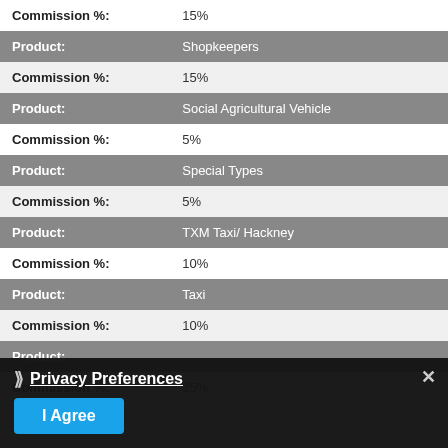| Field | Value |
| --- | --- |
| Commission %: | 15% |
| Product: | Shopkeepers |
| Commission %: | 15% |
| Product: | Social Agricultural Vehicle |
| Commission %: | 5% |
| Product: | Special Types |
| Commission %: | 5% |
| Product: | TXM Taxi/ Hackney |
| Commission %: | 10% |
| Product: | Taxi |
| Commission %: | 10% |
| Product: | (partially hidden) |
| Commission %: | 25% |
Privacy Preferences — I Agree (cookie consent overlay)